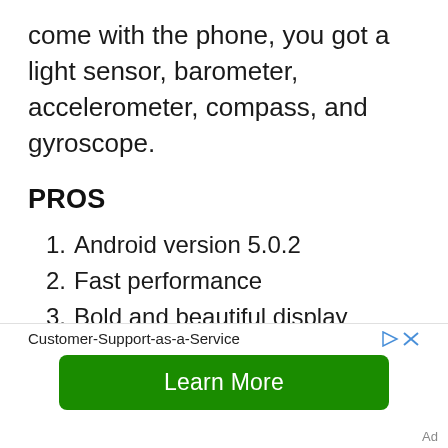come with the phone, you got a light sensor, barometer, accelerometer, compass, and gyroscope.
PROS
Android version 5.0.2
Fast performance
Bold and beautiful display
Amazing photos thanks to a fast focus camera
Wireless charging
Customer-Support-as-a-Service
Learn More
Ad